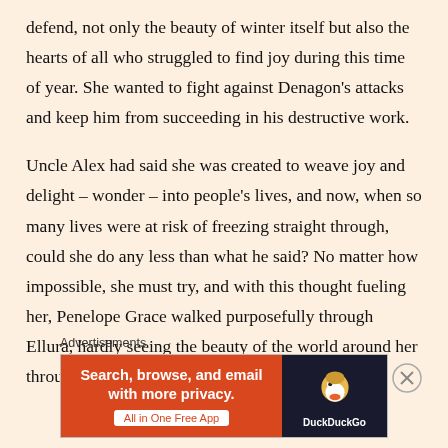defend, not only the beauty of winter itself but also the hearts of all who struggled to find joy during this time of year. She wanted to fight against Denagon's attacks and keep him from succeeding in his destructive work.
Uncle Alex had said she was created to weave joy and delight – wonder – into people's lives, and now, when so many lives were at risk of freezing straight through, could she do any less than what he said? No matter how impossible, she must try, and with this thought fueling her, Penelope Grace walked purposefully through Ellura, hardly seeing the beauty of the world around her through the first day of travel.
Advertisements
[Figure (other): DuckDuckGo advertisement banner: orange left section with bold white text 'Search, browse, and email with more privacy.' and a white pill button 'All in One Free App'; dark right section with DuckDuckGo duck logo and 'DuckDuckGo' text in white.]